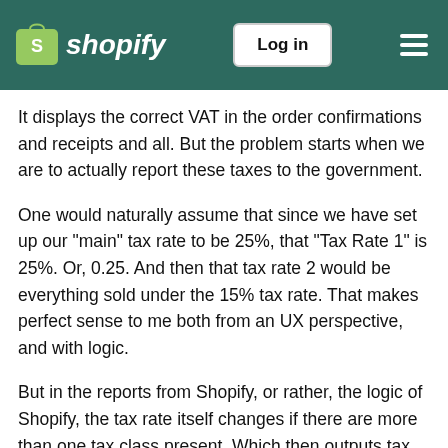Shopify | Log in
It displays the correct VAT in the order confirmations and receipts and all. But the problem starts when we are to actually report these taxes to the government.
One would naturally assume that since we have set up our "main" tax rate to be 25%, that "Tax Rate 1" is 25%. Or, 0.25. And then that tax rate 2 would be everything sold under the 15% tax rate. That makes perfect sense to me both from an UX perspective, and with logic.
But in the reports from Shopify, or rather, the logic of Shopify, the tax rate itself changes if there are more than one tax class present. Which then outputs tax rate 1 as 0.15! How.the.**bleep**.would.that.make.sense to